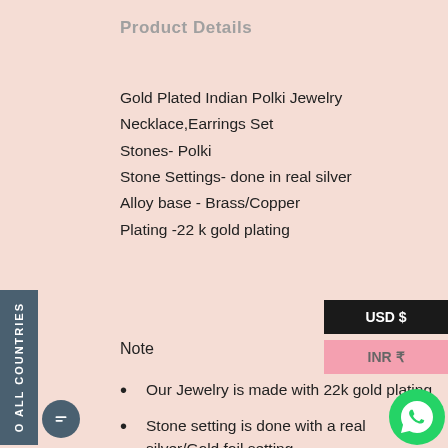Product Details
Gold Plated Indian Polki Jewelry
Necklace,Earrings Set
Stones- Polki
Stone Settings- done in real silver
Alloy base - Brass/Copper
Plating -22 k gold plating
Note
Our Jewelry is made with 22k gold plating
Stone setting is done with a real silver/Gold foil setting
100% handmade and 22k Gold Plated with ancient Kundan stone setting method using silver foils